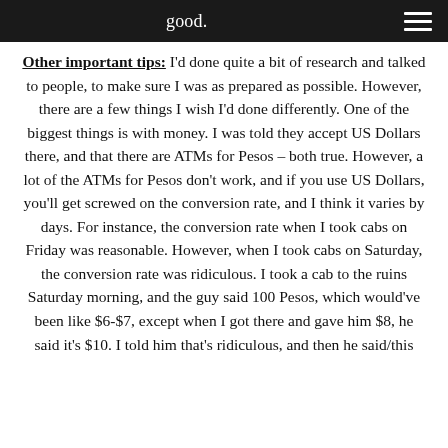good.
Other important tips: I'd done quite a bit of research and talked to people, to make sure I was as prepared as possible. However, there are a few things I wish I'd done differently. One of the biggest things is with money. I was told they accept US Dollars there, and that there are ATMs for Pesos – both true. However, a lot of the ATMs for Pesos don't work, and if you use US Dollars, you'll get screwed on the conversion rate, and I think it varies by days. For instance, the conversion rate when I took cabs on Friday was reasonable. However, when I took cabs on Saturday, the conversion rate was ridiculous. I took a cab to the ruins Saturday morning, and the guy said 100 Pesos, which would've been like $6-$7, except when I got there and gave him $8, he said it's $10. I told him that's ridiculous, and then he said/this sentence cuts off